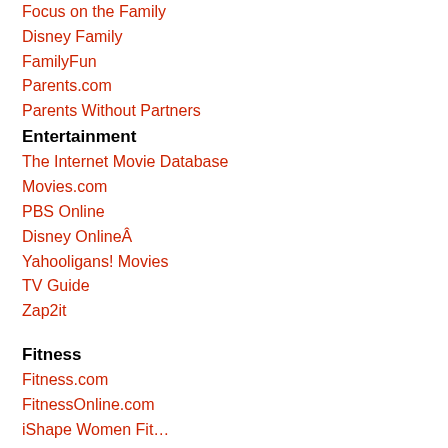Focus on the Family
Disney Family
FamilyFun
Parents.com
Parents Without Partners
Entertainment
The Internet Movie Database
Movies.com
PBS Online
Disney OnlineÂ
Yahooligans! Movies
TV Guide
Zap2it
Fitness
Fitness.com
FitnessOnline.com
iShape Women Fit…